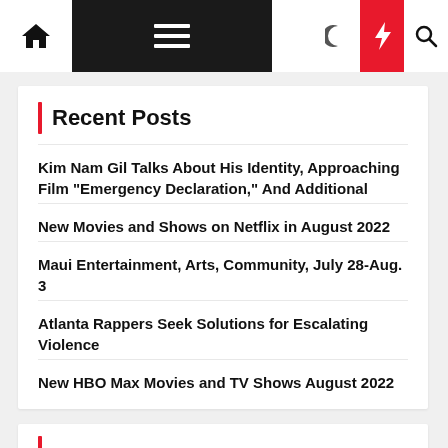Navigation bar with home icon, menu icon, moon icon, bolt icon, search icon
Recent Posts
Kim Nam Gil Talks About His Identity, Approaching Film “Emergency Declaration,” And Additional
New Movies and Shows on Netflix in August 2022
Maui Entertainment, Arts, Community, July 28-Aug. 3
Atlanta Rappers Seek Solutions for Escalating Violence
New HBO Max Movies and TV Shows August 2022